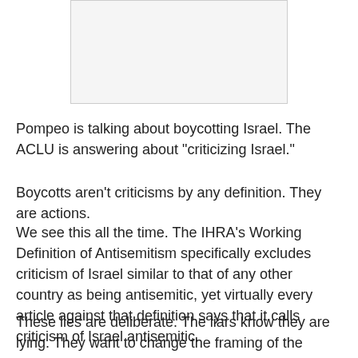[Figure (other): Image placeholder at top of page]
Pompeo is talking about boycotting Israel. The ACLU is answering about "criticizing Israel."
Boycotts aren't criticisms by any definition. They are actions.
We see this all the time. The IHRA's Working Definition of Antisemitism specifically excludes criticism of Israel similar to that of any other country as being antisemitic, yet virtually every article against that definition says that it calls criticism of Israel antisemitic.
These lies are deliberate. The liars know they are lying. They want to change the framing of the argument into something they can win, by pretending that Israel's supporters are saying something they...